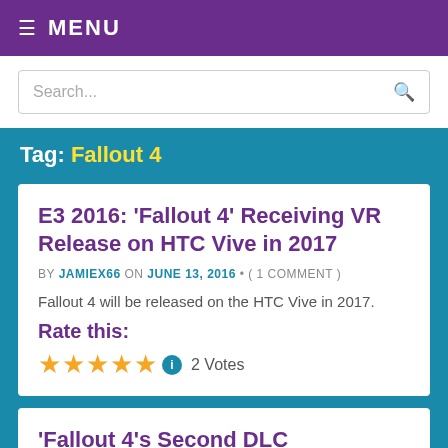≡ MENU
Search...
Tag: Fallout 4
E3 2016: 'Fallout 4' Receiving VR Release on HTC Vive in 2017
BY JAMIEX66 ON JUNE 13, 2016 • ( 1 COMMENT )
Fallout 4 will be released on the HTC Vive in 2017.
Rate this:
★★★★★ ⓘ 2 Votes
'Fallout 4's Second DLC Expansion,